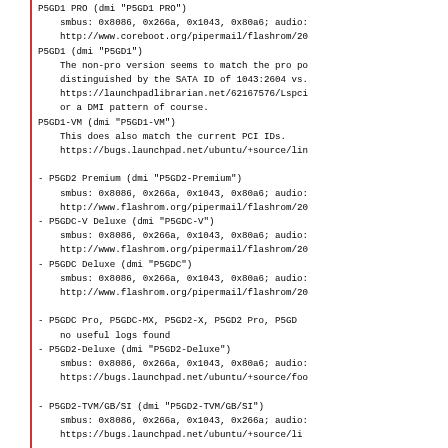P5GD1 PRO (dmi "P5GD1 PRO")
  smbus: 0x8086, 0x266a, 0x1043, 0x80a6; audio:
  http://www.coreboot.org/pipermail/flashrom/20
P5GD1 (dmi "P5GD1")
  The non-pro version seems to match the pro po
  distinguished by the SATA ID of 1043:2604 vs.
  https://launchpadlibrarian.net/62167576/Lspci
  or a DMI pattern of course.
P5GD1-VM (dmi "P5GD1-VM")
  This does also match the current PCI IDs.
  https://bugs.launchpad.net/ubuntu/+source/lin

- P5GD2 Premium (dmi "P5GD2-Premium")
  smbus: 0x8086, 0x266a, 0x1043, 0x80a6; audio:
  http://www.flashrom.org/pipermail/flashrom/20
- P5GDC-V Deluxe (dmi "P5GDC-V")
  smbus: 0x8086, 0x266a, 0x1043, 0x80a6; audio:
  http://www.flashrom.org/pipermail/flashrom/20
- P5GDC Deluxe (dmi "P5GDC")
  smbus: 0x8086, 0x266a, 0x1043, 0x80a6; audio:
  http://www.flashrom.org/pipermail/flashrom/20

- P5GDC Pro, P5GDC-MX, P5GD2-X, P5GD2 Pro, P5GD
  no useful logs found
- P5GD2-Deluxe (dmi "P5GD2-Deluxe")
  smbus: 0x8086, 0x266a, 0x1043, 0x80a6; audio:
  https://bugs.launchpad.net/ubuntu/+source/foo

- P5GD2-TVM/GB/SI (dmi "P5GD2-TVM/GB/SI")
  smbus: 0x8086, 0x266a, 0x1043, 0x266a; audio:
  https://bugs.launchpad.net/ubuntu/+source/li